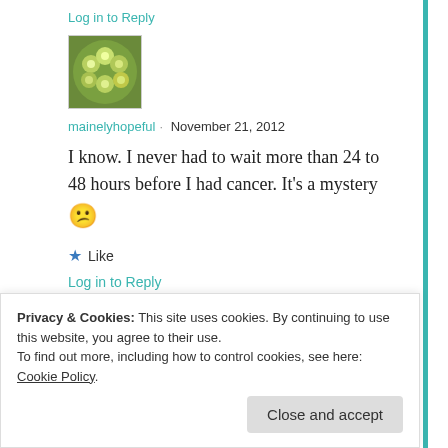Log in to Reply
[Figure (photo): Avatar image showing green flowers/foliage]
mainelyhopeful · November 21, 2012
I know. I never had to wait more than 24 to 48 hours before I had cancer. It's a mystery 😕
★ Like
Log in to Reply
Privacy & Cookies: This site uses cookies. By continuing to use this website, you agree to their use.
To find out more, including how to control cookies, see here: Cookie Policy
Close and accept
checking? Let's hope so.